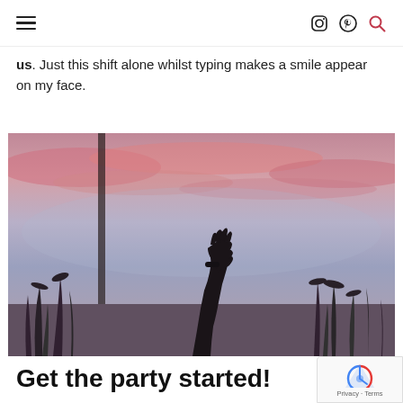[hamburger menu] [Instagram icon] [Pinterest icon] [Search icon]
us. Just this shift alone whilst typing makes a smile appear on my face.
[Figure (photo): Silhouette of a raised hand against a sunset sky with tall grasses in the foreground; pink, purple and blue tones in the clouds]
Get the party started!